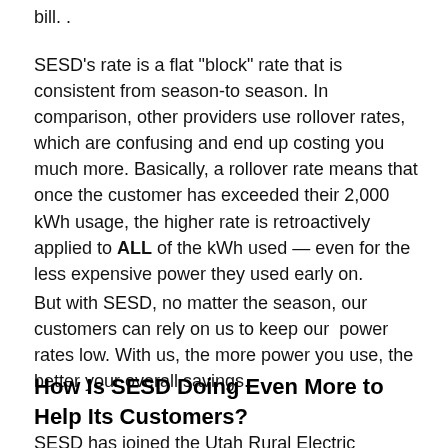bill. .
SESD's rate is a flat "block" rate that is consistent from season-to season. In comparison, other providers use rollover rates, which are confusing and end up costing you much more. Basically, a rollover rate means that once the customer has exceeded their 2,000 kWh usage, the higher rate is retroactively applied to ALL of the kWh used — even for the less expensive power they used early on.
But with SESD, no matter the season, our customers can rely on us to keep our  power rates low. With us, the more power you use, the better your overall savings.
How Is SESD Doing Even More to Help Its Customers?
SESD has joined the Utah Rural Electric Cooperative